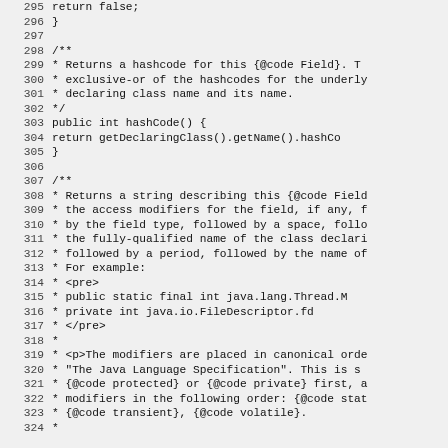Source code listing lines 295-324, Java source file with hashCode() and toString() method Javadoc comments